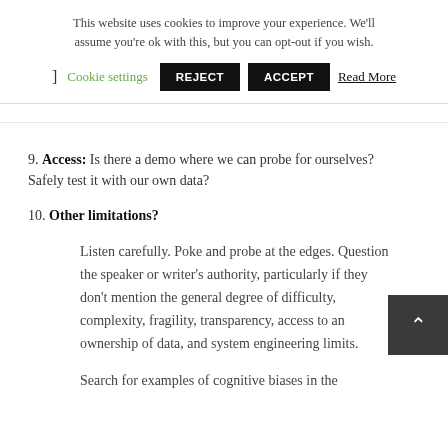This website uses cookies to improve your experience. We'll assume you're ok with this, but you can opt-out if you wish.
] Cookie settings  REJECT  ACCEPT  Read More
9. Access: Is there a demo where we can probe for ourselves? Safely test it with our own data?
10. Other limitations?
Listen carefully. Poke and probe at the edges. Question the speaker or writer's authority, particularly if they don't mention the general degree of difficulty, complexity, fragility, transparency, access to an ownership of data, and system engineering limits.
Search for examples of cognitive biases in the